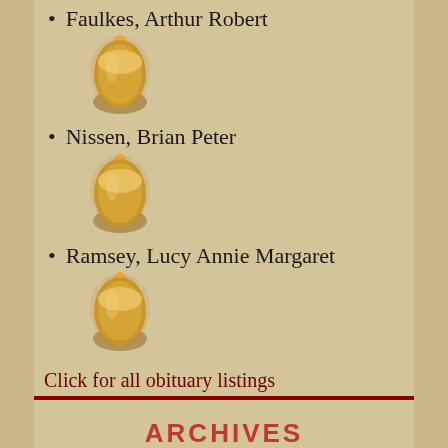Faulkes, Arthur Robert
[Figure (illustration): Candle flame illustration — oval golden candle with warm flame glow]
Nissen, Brian Peter
[Figure (illustration): Candle flame illustration — oval golden candle with warm flame glow]
Ramsey, Lucy Annie Margaret
[Figure (illustration): Candle flame illustration — oval golden candle with warm flame glow]
Click for all obituary listings
ARCHIVES
Select Month
[Figure (illustration): Service Canada banner — blue background with text 'Service Canada', bilingual subtitle, and illustrated figures]